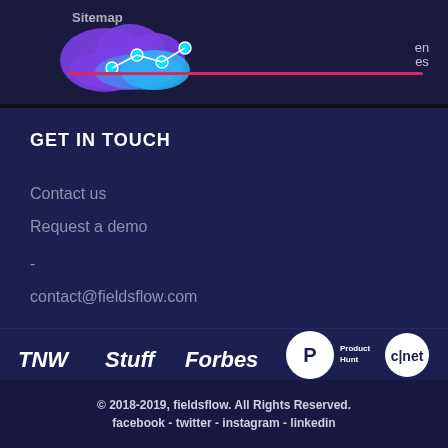[Figure (logo): Fieldsflow logo with purple/blue cloud and connected dots, with Sitemap navigation text, pink horizontal bar, and language selector 'en/es' on dark navy background]
GET IN TOUCH
Contact us
Request a demo
-
contact@fieldsflow.com
[Figure (logo): Media logos: TNW, Stuff, Forbes, ProductHunt (P), cnet on dark background]
© 2018-2019, fieldsflow. All Rights Reserved. facebook - twitter - instagram - linkedin